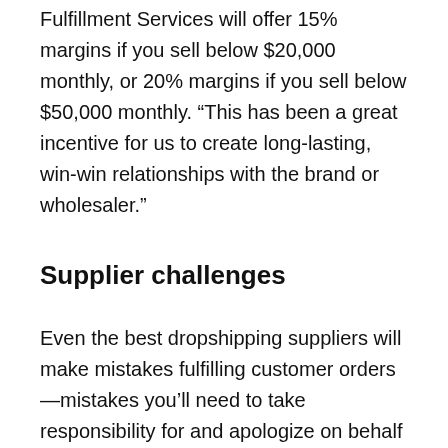Fulfillment Services will offer 15% margins if you sell below $20,000 monthly, or 20% margins if you sell below $50,000 monthly. “This has been a great incentive for us to create long-lasting, win-win relationships with the brand or wholesaler.”
Supplier challenges
Even the best dropshipping suppliers will make mistakes fulfilling customer orders—mistakes you’ll need to take responsibility for and apologize on behalf of. A low-quality fulfillment partner can cause havoc with missing items, mishandled shipments, and poor packaging. If